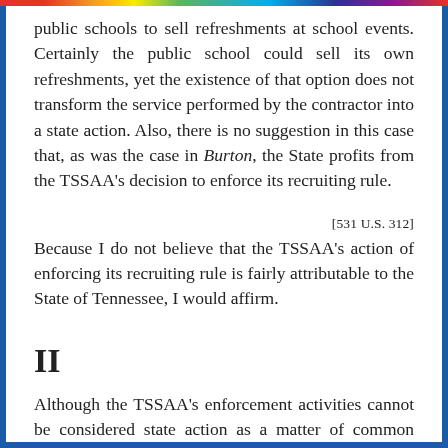public schools to sell refreshments at school events. Certainly the public school could sell its own refreshments, yet the existence of that option does not transform the service performed by the contractor into a state action. Also, there is no suggestion in this case that, as was the case in Burton, the State profits from the TSSAA's decision to enforce its recruiting rule.
[531 U.S. 312]
Because I do not believe that the TSSAA's action of enforcing its recruiting rule is fairly attributable to the State of Tennessee, I would affirm.
II
Although the TSSAA's enforcement activities cannot be considered state action as a matter of common sense or under any of this Court's existing theories of state action, the majority